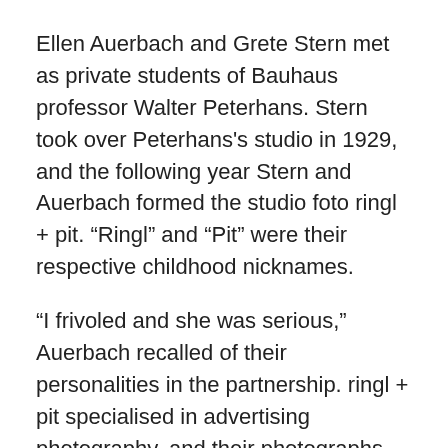Ellen Auerbach and Grete Stern met as private students of Bauhaus professor Walter Peterhans. Stern took over Peterhans’s studio in 1929, and the following year Stern and Auerbach formed the studio foto ringl + pit. “Ringl” and “Pit” were their respective childhood nicknames.
“I frivoled and she was serious,” Auerbach recalled of their personalities in the partnership. ringl + pit specialised in advertising photography, and their photographs redefined the image of women in advertising. Their work came to define the “new women” that emerged in the 1910s and 20s, as women gained the right to vote and entered the work force in increasing numbers. Their partnership ended when they both emigrated in 1933.
Text from the J. Paul Getty website